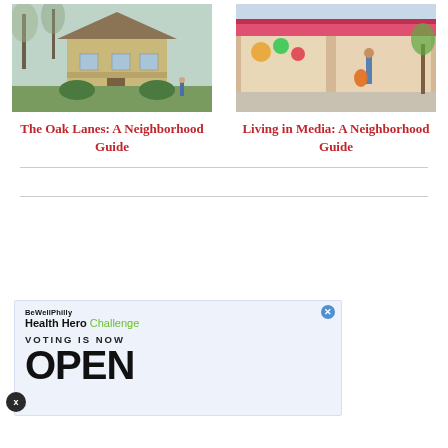[Figure (photo): Suburban house with trees and a person on the sidewalk in spring/early spring setting]
[Figure (photo): Street-level shop front with colorful merchandise and a person walking past]
The Oak Lanes: A Neighborhood Guide
Living in Media: A Neighborhood Guide
[Figure (infographic): Advertisement for BeWellPhilly Health Hero Challenge — VOTING IS NOW OPEN]